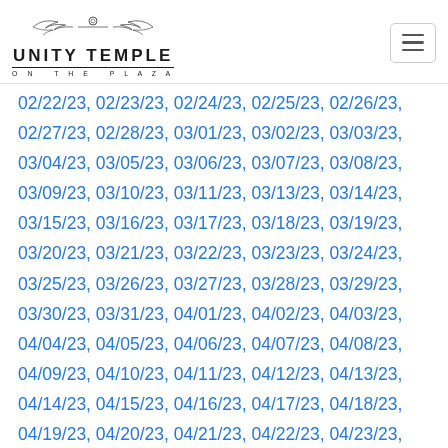Unity Temple on the Plaza
02/22/23, 02/23/23, 02/24/23, 02/25/23, 02/26/23, 02/27/23, 02/28/23, 03/01/23, 03/02/23, 03/03/23, 03/04/23, 03/05/23, 03/06/23, 03/07/23, 03/08/23, 03/09/23, 03/10/23, 03/11/23, 03/13/23, 03/14/23, 03/15/23, 03/16/23, 03/17/23, 03/18/23, 03/19/23, 03/20/23, 03/21/23, 03/22/23, 03/23/23, 03/24/23, 03/25/23, 03/26/23, 03/27/23, 03/28/23, 03/29/23, 03/30/23, 03/31/23, 04/01/23, 04/02/23, 04/03/23, 04/04/23, 04/05/23, 04/06/23, 04/07/23, 04/08/23, 04/09/23, 04/10/23, 04/11/23, 04/12/23, 04/13/23, 04/14/23, 04/15/23, 04/16/23, 04/17/23, 04/18/23, 04/19/23, 04/20/23, 04/21/23, 04/22/23, 04/23/23, 04/24/23, 04/25/23, 04/26/23, 04/27/23, 04/28/23, 04/29/23, 04/30/23, 05/01/23, 05/02/23, 05/03/23, 05/04/23, 05/05/23, 05/06/23, 05/07/23, 05/08/23, 05/09/23, 05/10/23, 05/11/23, 05/12/23, 05/13/23